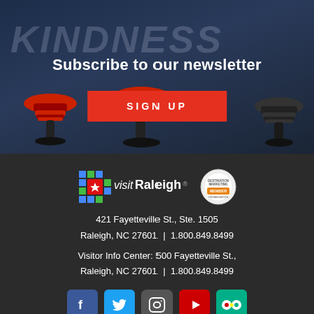[Figure (photo): Dark diner background with retro bar stools, 'KINDNESS' text visible in background, overlaid with newsletter signup content]
Subscribe to our newsletter
SIGN UP
[Figure (logo): visitRaleigh logo with colorful pixel star design and Destination Marketing Organization seal]
421 Fayetteville St., Ste. 1505
Raleigh, NC 27601  |  1.800.849.8499
Visitor Info Center: 500 Fayetteville St.,
Raleigh, NC 27601  |  1.800.849.8499
[Figure (other): Row of social media icons: Facebook, Twitter, Instagram, YouTube, TripAdvisor]